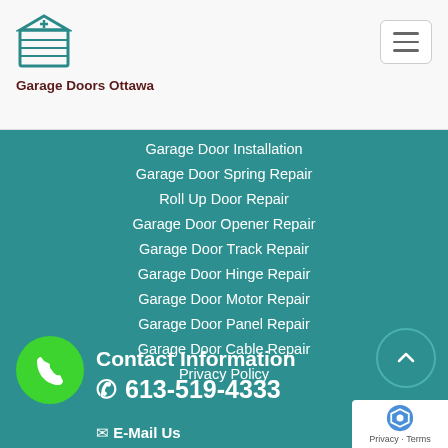[Figure (logo): Garage Doors Ottawa logo: teal garage door icon above text 'Garage Doors Ottawa' in dark red/maroon bold font]
[Figure (other): Hamburger menu button (three horizontal lines) in top right corner]
Garage Door Installation
Garage Door Spring Repair
Roll Up Door Repair
Garage Door Opener Repair
Garage Door Track Repair
Garage Door Hinge Repair
Garage Door Motor Repair
Garage Door Panel Repair
Garage Door Cable Repair
Privacy Policy
Contact Information
613-519-4333
E-Mail Us